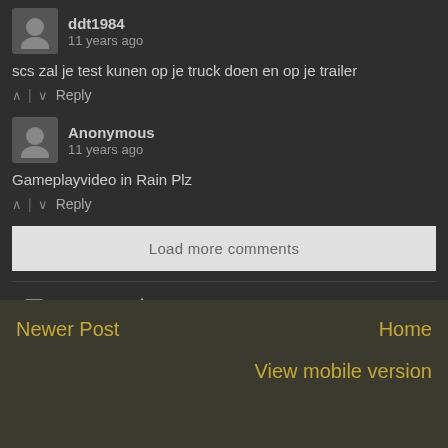ddt1984
11 years ago
scs zal je test kunen op je truck doen en op je trailer
^ | v Reply
Anonymous
11 years ago
Gameplayvideo in Rain Plz
^ | v Reply
Load more comments
Subscribe   Do Not Sell My Data
Newer Post
Home
View mobile version